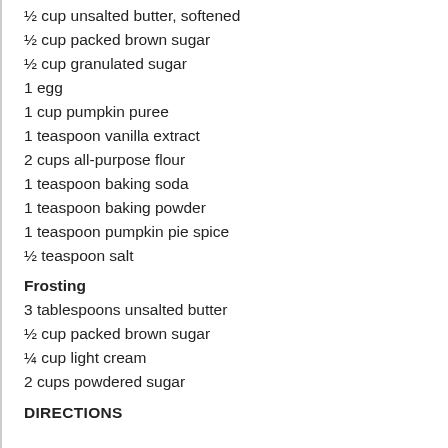½ cup unsalted butter, softened
½ cup packed brown sugar
½ cup granulated sugar
1 egg
1 cup pumpkin puree
1 teaspoon vanilla extract
2 cups all-purpose flour
1 teaspoon baking soda
1 teaspoon baking powder
1 teaspoon pumpkin pie spice
½ teaspoon salt
Frosting
3 tablespoons unsalted butter
½ cup packed brown sugar
¼ cup light cream
2 cups powdered sugar
DIRECTIONS